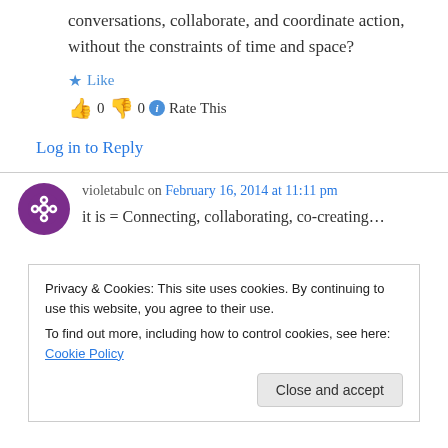conversations, collaborate, and coordinate action, without the constraints of time and space?
★ Like
👍 0 👎 0 ℹ Rate This
Log in to Reply
violetabulc on February 16, 2014 at 11:11 pm
it is = Connecting, collaborating, co-creating...
Privacy & Cookies: This site uses cookies. By continuing to use this website, you agree to their use.
To find out more, including how to control cookies, see here: Cookie Policy
Close and accept